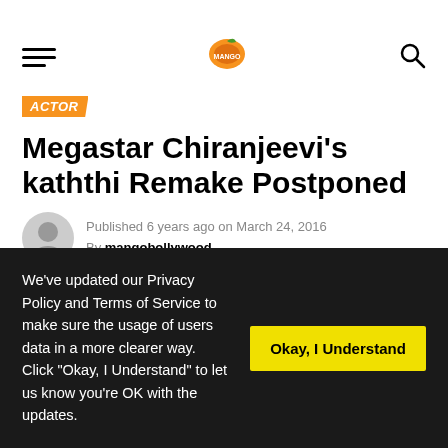[Figure (logo): MangoBollywood website logo with orange mango icon and text]
ACTOR
Megastar Chiranjeevi's kaththi Remake Postponed
Published 6 years ago on March 24, 2016
By mangobollywood
We've updated our Privacy Policy and Terms of Service to make sure the usage of users data in a more clearer way. Click "Okay, I Understand" to let us know you're OK with the updates.